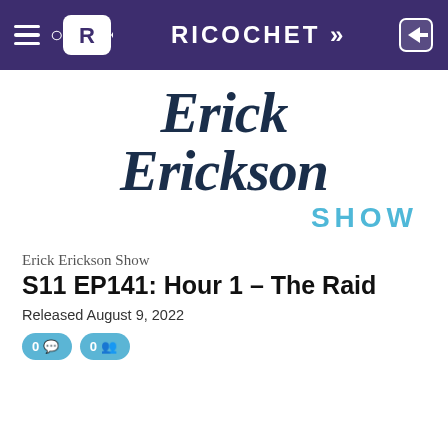RICOCHET
[Figure (logo): Erick Erickson Show logo with serif italic text in dark navy and 'SHOW' in light blue]
Erick Erickson Show
S11 EP141: Hour 1 – The Raid
Released August 9, 2022
0 comments  0 members